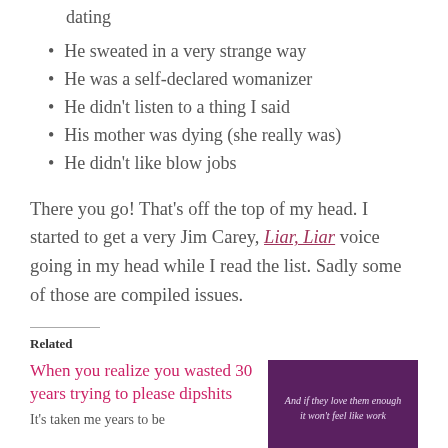dating
He sweated in a very strange way
He was a self-declared womanizer
He didn't listen to a thing I said
His mother was dying (she really was)
He didn't like blow jobs
There you go! That's off the top of my head. I started to get a very Jim Carey, Liar, Liar voice going in my head while I read the list. Sadly some of those are compiled issues.
Related
When you realize you wasted 30 years trying to please dipshits
It's taken me years to be
[Figure (photo): Purple background image with italic text: 'And if they love them enough it won't feel like work']